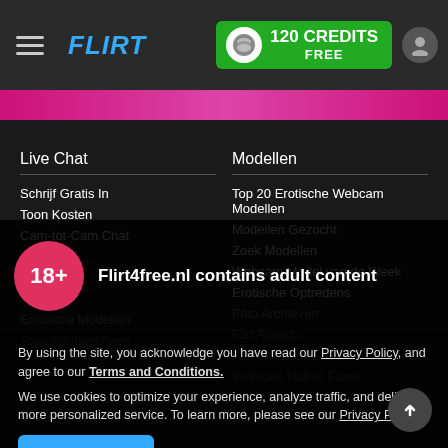FLIRT4FREE — 120 CREDITS FREE
Live Chat
Schrijf Gratis In
Toon Kosten
Cam-tot-Cam Chat
Interactief
Fleshlight
Fanclubs
Erotische Modellen
Toon Aanbiedingen
Modellen
Top 20 Erotische Webcam Modellen
Modellen Gezocht
Zoek Modellen
Webcam Model van de Week
Erotische Optredens
Foto Archieven
Flirt Awards
Flirt van het Jaar
Webcam Hall of Fame
18+ Flirt4free.nl contains adult content
By using the site, you acknowledge you have read our Privacy Policy, and agree to our Terms and Conditions.
We use cookies to optimize your experience, analyze traffic, and deliver more personalized service. To learn more, please see our Privacy Policy.
I AGREE